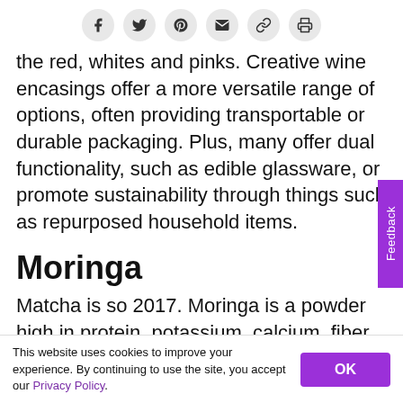[Figure (other): Social share bar with icons: Facebook, Twitter, Pinterest, Email, Link, Print]
the red, whites and pinks. Creative wine encasings offer a more versatile range of options, often providing transportable or durable packaging. Plus, many offer dual functionality, such as edible glassware, or promote sustainability through things such as repurposed household items.
Moringa
Matcha is so 2017. Moringa is a powder high in protein, potassium, calcium, fiber and Vitamin A. The substance alone supposedly tastes like dried spinach
This website uses cookies to improve your experience. By continuing to use the site, you accept our Privacy Policy.